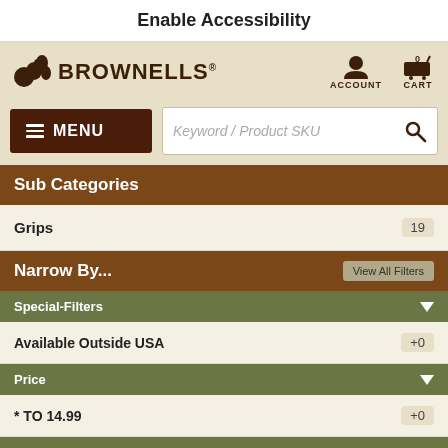Enable Accessibility
[Figure (logo): Brownells logo with squirrel mascot, account icon, and cart icon with 0 items]
[Figure (screenshot): Menu button and keyword/product SKU search bar]
Sub Categories
Grips 19
Narrow By...
Special-Filters
Available Outside USA +0
Price
* TO 14.99 +0
Reviews